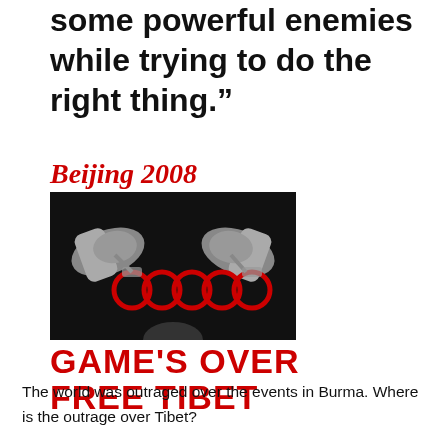some powerful enemies while trying to do the right thing.”
[Figure (illustration): Beijing 2008 protest image showing handcuffed wrists holding Olympic rings in red, with text 'GAME'S OVER FREE TIBET']
The world was outraged over the events in Burma. Where is the outrage over Tibet?